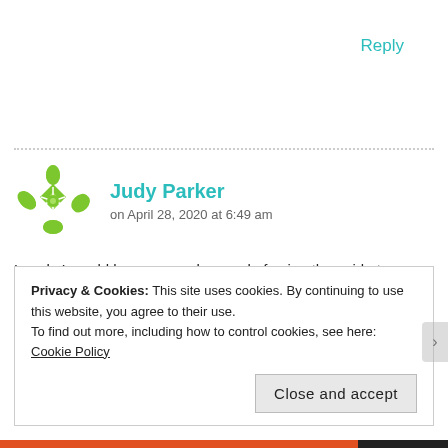Reply
Judy Parker
on April 28, 2020 at 6:49 am
Lovely I would have never dreamed of using the oxide to stamp with ….thanks for sharing
Privacy & Cookies: This site uses cookies. By continuing to use this website, you agree to their use.
To find out more, including how to control cookies, see here: Cookie Policy
Close and accept